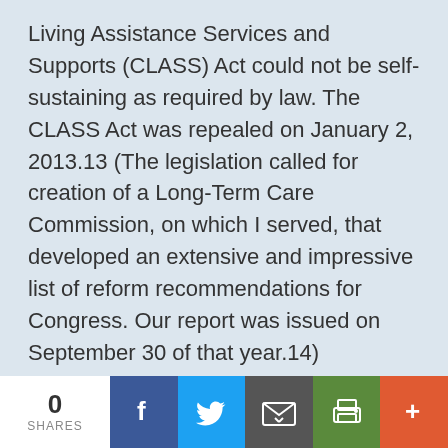Living Assistance Services and Supports (CLASS) Act could not be self-sustaining as required by law. The CLASS Act was repealed on January 2, 2013.13 (The legislation called for creation of a Long-Term Care Commission, on which I served, that developed an extensive and impressive list of reform recommendations for Congress. Our report was issued on September 30 of that year.14)
1099 repeal. On April 14, 2011, Congress
0 SHARES | Facebook | Twitter | Email | Print | More